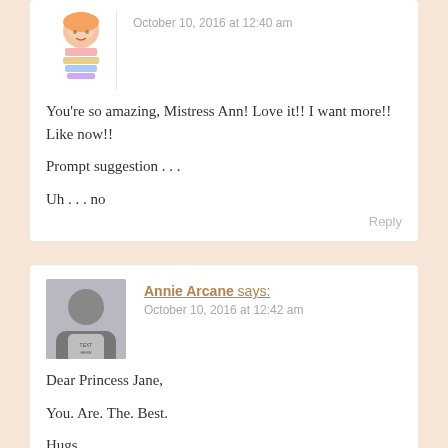[Figure (illustration): Cartoon avatar of a character holding books, pink outfit]
October 10, 2016 at 12:40 am
You're so amazing, Mistress Ann! Love it!! I want more!! Like now!!
Prompt suggestion . . .
Uh . . . no
Reply
[Figure (photo): Profile photo of Annie Arcane, person in white t-shirt]
Annie Arcane says:
October 10, 2016 at 12:42 am
Dear Princess Jane,
You. Are. The. Best.
Hugs,